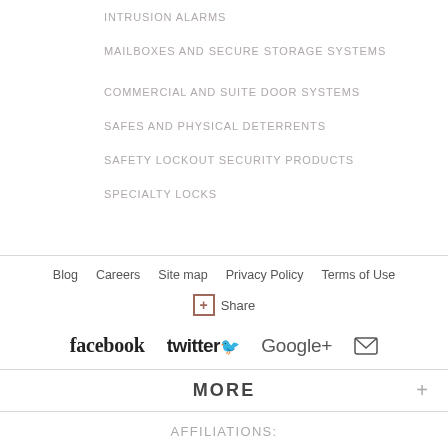INTRUSION ALARMS
MAILBOXES AND SECURE STORAGE SYSTEMS
COMMERCIAL AND SUITE DOOR SYSTEMS
SAFES AND PHYSICAL DETERRENTS
SAFETY LOCKOUT SECURITY PRODUCTS
SPECIALTY LOCKS
Blog  Careers  Site map  Privacy Policy  Terms of Use
+ Share
facebook  twitter  Google+  [mail icon]
MORE
AFFILIATIONS: